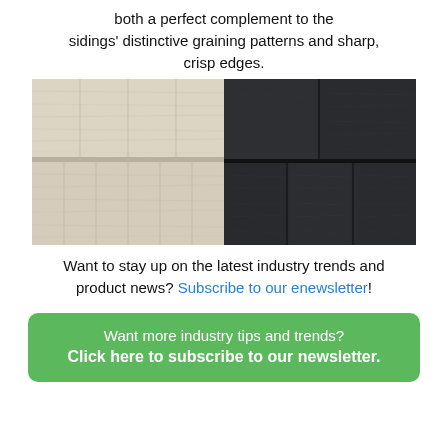both a perfect complement to the sidings' distinctive graining patterns and sharp, crisp edges.
[Figure (photo): Two wood siding panels side by side: left panel shows light beige/white wood grain vertical siding with horizontal board division; right panel shows dark charcoal/black wood grain siding with overlapping shingle pattern.]
Want to stay up on the latest industry trends and product news? Subscribe to our enewsletter!
Want more industry tips and trends? Click here to subscribe to our newsletter.